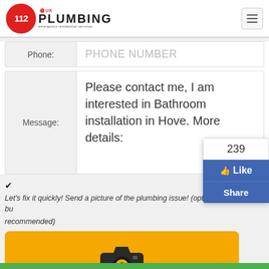[Figure (logo): 112 UK Plumbing logo with red circle containing 112 number and plumbing text]
| Phone: | PHONE NUMBER |
| Message: | Please contact me, I am interested in Bathroom installation in Hove. More details: |
Let's fix it quickly! Send a picture of the plumbing issue! (optional, but recommended)
[Figure (illustration): Orange button with camera icon and text 'Click & Send a photo']